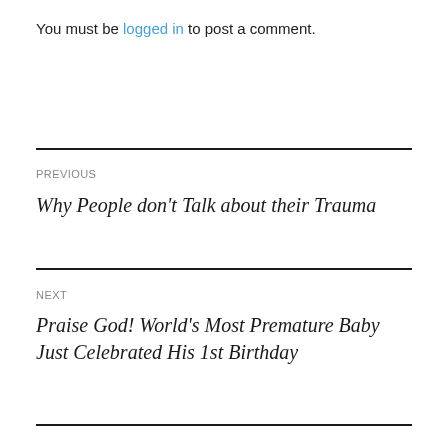You must be logged in to post a comment.
PREVIOUS
Why People don't Talk about their Trauma
NEXT
Praise God! World's Most Premature Baby Just Celebrated His 1st Birthday